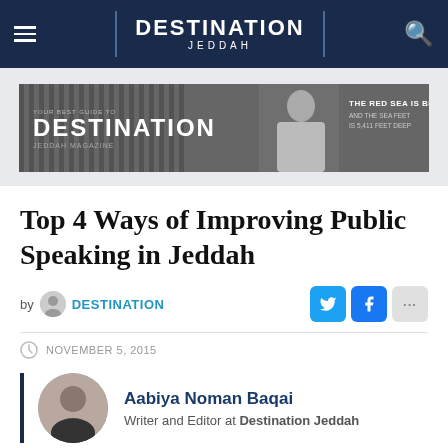DESTINATION JEDDAH
[Figure (photo): Destination Jeddah banner advertisement with a person and text about The Red Sea]
Top 4 Ways of Improving Public Speaking in Jeddah
by DESTINATION
NOVEMBER 5, 2015
Aabiya Noman Baqai
Writer and Editor at Destination Jeddah